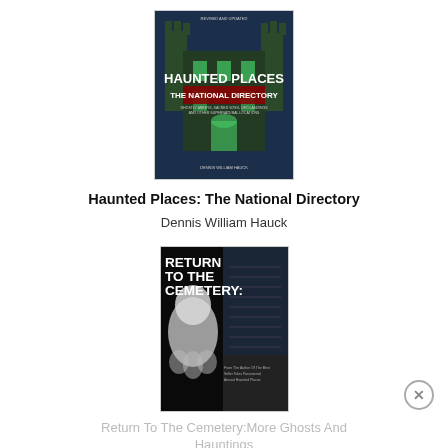[Figure (illustration): Book cover of 'Haunted Places: The National Directory' by Dennis William Hauck. Dark blue background showing a gothic castle/mansion with green lighting. White text reads 'HAUNTED PLACES THE NATIONAL DIRECTORY' with subtitle text below.]
Haunted Places: The National Directory
Dennis William Hauck
[Figure (illustration): Book cover of 'Return To The Cemetery: More Ghosts And Hauntings'. Dark/black background showing a ghostly white figure and staircases. White text reads 'RETURN TO THE CEMETERY:' with subtitle 'From The Author Of The Best Seller Tales Paranormal Annual Haunted Places'.]
Return To The Cemetery:More Ghosts And Hauntings